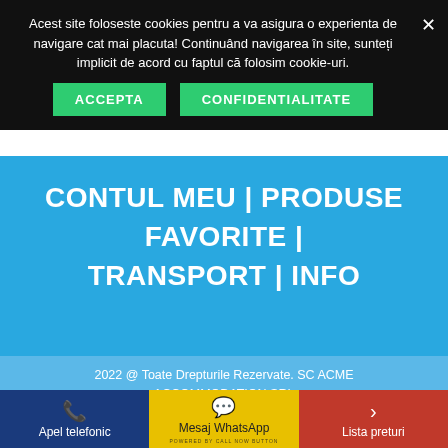Acest site foloseste cookies pentru a va asigura o experienta de navigare cat mai placuta! Continuând navigarea în site, sunteți implicit de acord cu faptul că folosim cookie-uri.
ACCEPTA   CONFIDENTIALITATE
CONTUL MEU | PRODUSE FAVORITE | TRANSPORT | INFO
2022 @ Toate Drepturile Rezervate. SC ACME ACCOMMODATION SRL
[Figure (logo): Payment logos: 3D Secure, NETOPIA mobil, Verified by VISA, MasterCard SecureCode]
Apel telefonic   Mesaj WhatsApp   Lista preturi